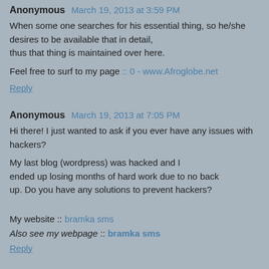Anonymous March 19, 2013 at 3:59 PM
When some one searches for his essential thing, so he/she desires to be available that in detail, thus that thing is maintained over here.
Feel free to surf to my page :: 0 - www.Afroglobe.net
Reply
Anonymous March 19, 2013 at 7:05 PM
Hi there! I just wanted to ask if you ever have any issues with hackers?
My last blog (wordpress) was hacked and I ended up losing months of hard work due to no back up. Do you have any solutions to prevent hackers?
My website :: bramka sms
Also see my webpage :: bramka sms
Reply